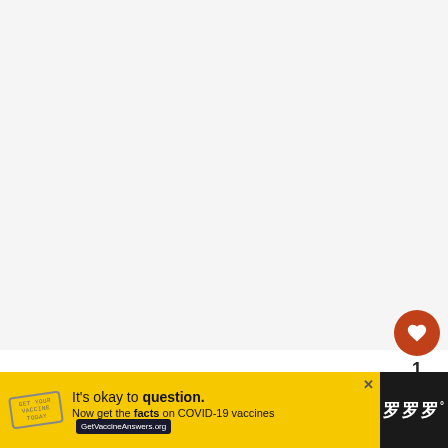[Figure (screenshot): White/light gray background area representing main content region of a webpage]
[Figure (infographic): Sidebar UI element with a dark orange/brown circular heart (like/favorite) button, a count of '1' below it, and a white circular share button with a share icon]
[Figure (infographic): What's Next card showing a hamster/guinea pig image in a circle, label 'WHAT'S NEXT →' in orange, and text 'Pregnancy and Birth in...']
[Figure (screenshot): Yellow advertisement banner at bottom: stamp graphic, text 'It's okay to question. Now get the facts on COVID-19 vaccines' with GetVaccineAnswers.org button, close X button, and Mw° logo on dark right side]